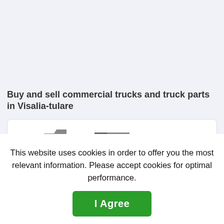Buy and sell commercial trucks and truck parts in Visalia-tulare
[Figure (screenshot): Website screenshot showing a card strip with icons of trucks and a car, partially visible at the bottom of the top section]
This website uses cookies in order to offer you the most relevant information. Please accept cookies for optimal performance.
I Agree